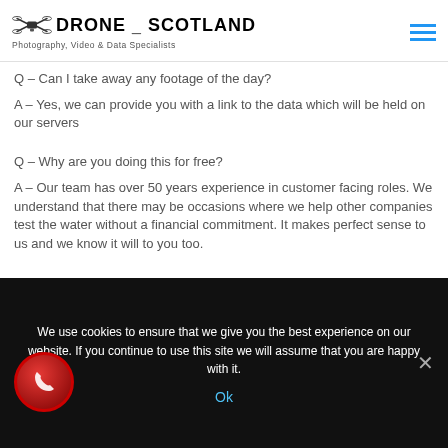DRONE SCOTLAND Photography, Video & Data Specialists
Q – Can I take away any footage of the day?
A – Yes, we can provide you with a link to the data which will be held on our servers
Q – Why are you doing this for free?
A – Our team has over 50 years experience in customer facing roles. We understand that there may be occasions where we help other companies test the water without a financial commitment. It makes perfect sense to us and we know it will to you too.
We use cookies to ensure that we give you the best experience on our website. If you continue to use this site we will assume that you are happy with it. Ok